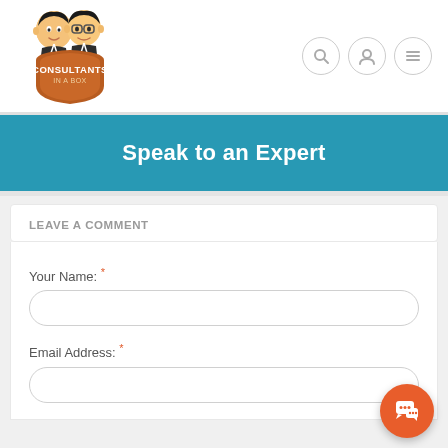[Figure (logo): Consultants In A Box logo — two cartoon figures (one in suit, one with glasses) above a brown shield badge with white text CONSULTANTS IN A BOX]
[Figure (other): Navigation icons: search (magnifying glass), user profile, and hamburger menu — each in circular outline buttons]
Speak to an Expert
LEAVE A COMMENT
Your Name: *
Email Address: *
[Figure (other): Orange circular chat/message button in bottom-right corner with a speech bubble icon]